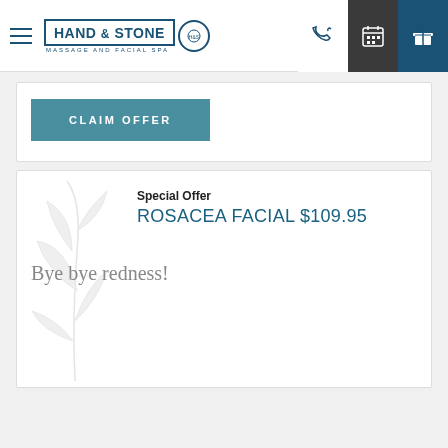[Figure (logo): Hand & Stone Massage and Facial Spa logo with hamburger menu icon on the left and navigation icons (phone, calendar, gift) on the right]
CLAIM OFFER
Special Offer
ROSACEA FACIAL $109.95
Bye bye redness!